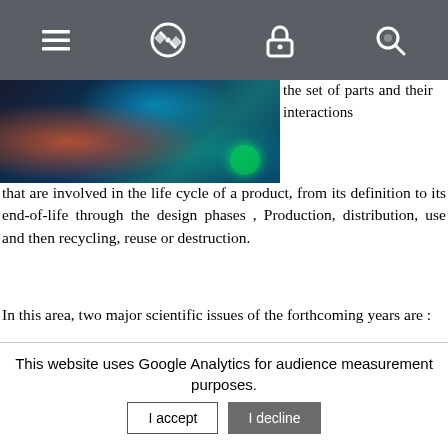[Figure (screenshot): Dark blue tech/computer equipment photo with orange and teal lighting on the left side, with navigation bar icons at top]
the set of parts and their interactions that are involved in the life cycle of a product, from its definition to its end-of-life through the design phases , Production, distribution, use and then recycling, reuse or destruction.
In this area, two major scientific issues of the forthcoming years are :
Achieving the transition to digital production and design systems
Developing the human/society centred production and...
This website uses Google Analytics for audience measurement purposes.